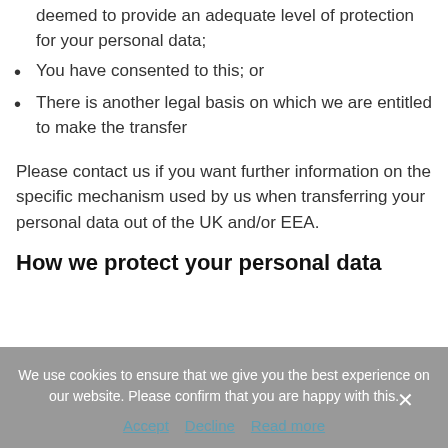deemed to provide an adequate level of protection for your personal data;
You have consented to this; or
There is another legal basis on which we are entitled to make the transfer
Please contact us if you want further information on the specific mechanism used by us when transferring your personal data out of the UK and/or EEA.
How we protect your personal data
We use cookies to ensure that we give you the best experience on our website. Please confirm that you are happy with this. Accept · Decline · Read more